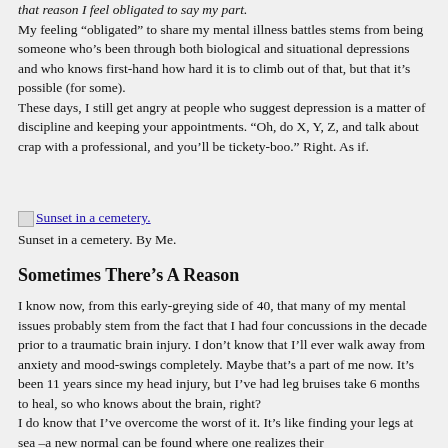that reason I feel obligated to say my part.
My feeling “obligated” to share my mental illness battles stems from being someone who’s been through both biological and situational depressions and who knows first-hand how hard it is to climb out of that, but that it’s possible (for some). These days, I still get angry at people who suggest depression is a matter of discipline and keeping your appointments. “Oh, do X, Y, Z, and talk about crap with a professional, and you’ll be tickety-boo.” Right. As if.
[Figure (photo): Sunset in a cemetery. Link to an image.]
Sunset in a cemetery. By Me.
Sometimes There’s A Reason
I know now, from this early-greying side of 40, that many of my mental issues probably stem from the fact that I had four concussions in the decade prior to a traumatic brain injury. I don’t know that I’ll ever walk away from anxiety and mood-swings completely. Maybe that’s a part of me now. It’s been 11 years since my head injury, but I’ve had leg bruises take 6 months to heal, so who knows about the brain, right? I do know that I’ve overcome the worst of it. It’s like finding your legs at sea –a new normal can be found where one realizes their